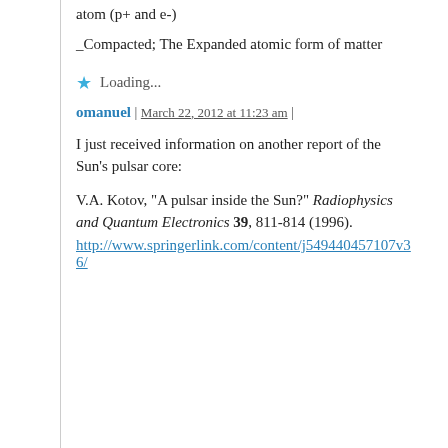atom (p+ and e-)
_Compacted; The Expanded atomic form of matter
★  Loading...
omanuel | March 22, 2012 at 11:23 am |
I just received information on another report of the Sun's pulsar core:
V.A. Kotov, "A pulsar inside the Sun?" Radiophysics and Quantum Electronics 39, 811-814 (1996). http://www.springerlink.com/content/j549440457107v36/